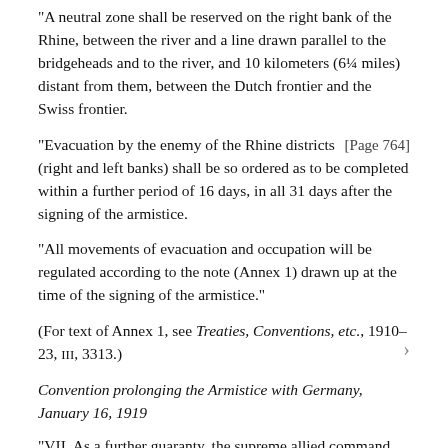“A neutral zone shall be reserved on the right bank of the Rhine, between the river and a line drawn parallel to the bridgeheads and to the river, and 10 kilometers (6¼ miles) distant from them, between the Dutch frontier and the Swiss frontier.
“Evacuation by the enemy of the Rhine districts [Page 764] (right and left banks) shall be so ordered as to be completed within a further period of 16 days, in all 31 days after the signing of the armistice.
“All movements of evacuation and occupation will be regulated according to the note (Annex 1) drawn up at the time of the signing of the armistice.”
(For text of Annex 1, see Treaties, Conventions, etc., 1910–23, III, 3313.)
Convention prolonging the Armistice with Germany, January 16, 1919
“VII. As a further guaranty, the supreme allied command reserves to itself the right to occupy, whenever it shall consider this desirable, the sector of the fortress of Strassburg formed by the